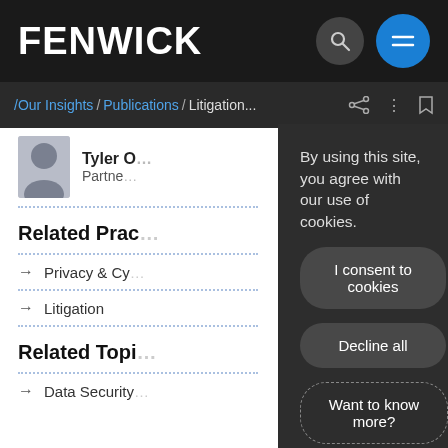FENWICK
/ Our Insights / Publications / Litigation...
Related Professionals
Tyler O
Partner
Related Prac
→ Privacy & Cy
→ Litigation
Related Topic
→ Data Security
By using this site, you agree with our use of cookies.
I consent to cookies
Decline all
Want to know more?
Privacy policy